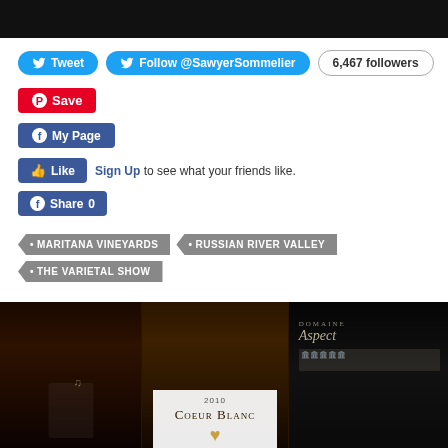[Figure (screenshot): Black banner bar at top of page]
Tweet button (Twitter)
Follow @SawyerSommelier button (Twitter)
6,467 followers
Save button (Pinterest)
My Page button (Facebook)
Like button. Sign Up to see what your friends like.
Share 0 button (Facebook)
• MARITANA VINEYARDS tag
• RUSSIAN RIVER VALLEY tag
• THE VARIETAL SHOW tag
[Figure (photo): Three wine bottles in dark setting. Center bottle shows label reading '2010 COEUR BLANC' with a heart logo. Right bottle shows 'DOMAINE Aspect' label. Left bottle is dark/unlabeled.]